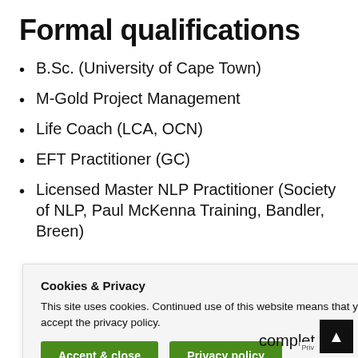Formal qualifications
B.Sc. (University of Cape Town)
M-Gold Project Management
Life Coach (LCA, OCN)
EFT Practitioner (GC)
Licensed Master NLP Practitioner (Society of NLP, Paul McKenna Training, Bandler, Breen)
lyp)
e
complet
Cookies & Privacy
This site uses cookies. Continued use of this website means that you accept the privacy policy.
Accept & close   Privacy policy